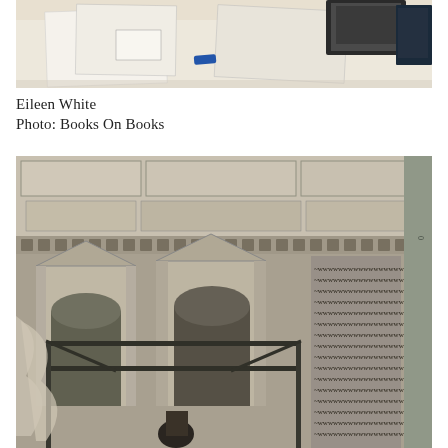[Figure (photo): Top portion of a photograph showing a white table surface with papers, books, and small objects arranged on it, partially cropped at top.]
Eileen White
Photo: Books On Books
[Figure (photo): Black and white historical photograph showing an ornate interior architectural space with decorative ceiling, classical doorways with pediments, scaffolding or display rack in the foreground, and decorative text or pattern along the right side. A figure stands near the bottom.]